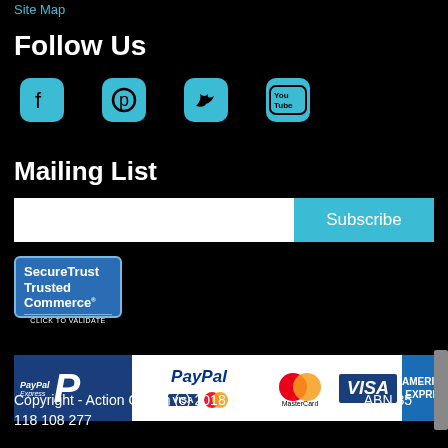Site Map
Follow Us
[Figure (illustration): Four social media icons: Facebook, Pinterest, Twitter, YouTube — teal/cyan rounded square buttons on black background]
Mailing List
[Figure (illustration): Email subscription row: white input field on left, teal Subscribe button on right]
[Figure (illustration): SecureTrust Trusted Commerce — Click to Validate badge]
[Figure (illustration): Payment method logos: PayPal Express, PayPal with Visa/Mastercard, MasterCard, Visa, American Express]
Copyright - Action Queen (c) 2018    ABN 85
118 108 277